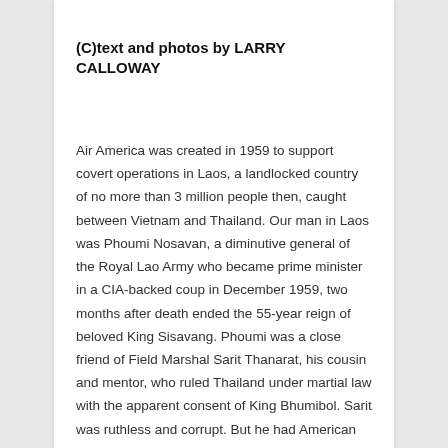(C)text and photos by LARRY CALLOWAY
Air America was created in 1959 to support covert operations in Laos, a landlocked country of no more than 3 million people then, caught between Vietnam and Thailand. Our man in Laos was Phoumi Nosavan, a diminutive general of the Royal Lao Army who became prime minister in a CIA-backed coup in December 1959, two months after death ended the 55-year reign of beloved King Sisavang. Phoumi was a close friend of Field Marshal Sarit Thanarat, his cousin and mentor, who ruled Thailand under martial law with the apparent consent of King Bhumibol. Sarit was ruthless and corrupt. But he had American friends like the Dulles brothers (Secretary of State John Foster and CIA director